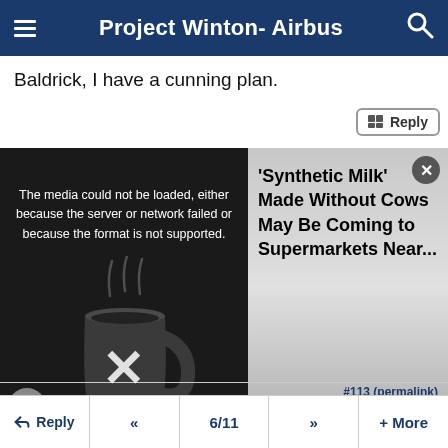Project Winton- Airbus
Baldrick, I have a cunning plan.
[Figure (screenshot): Media player showing error message 'The media could not be loaded, either because the server or network failed or because the format is not supported.' with a dark video panel showing a cup/mug, and an overlapping news article panel with text ''Synthetic Milk' Made Without Cows May Be Coming to Supermarkets Near...' with a close (X) button, and a large X close button on the video]
#113 (permalink)  ← Reply  «  6/11  »  + More